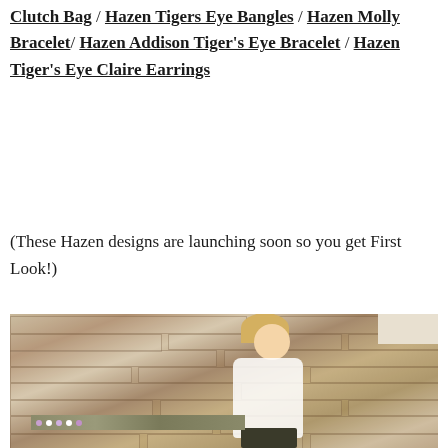Clutch Bag / Hazen Tigers Eye Bangles / Hazen Molly Bracelet/ Hazen Addison Tiger's Eye Bracelet / Hazen Tiger's Eye Claire Earrings
(These Hazen designs are launching soon so you get First Look!)
[Figure (photo): A blonde woman wearing a white off-the-shoulder top and dark pants, standing in front of a stone wall with flowers in the foreground.]